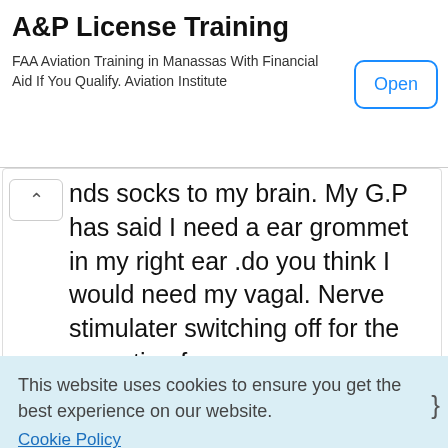[Figure (screenshot): Ad banner for A&P License Training. Title: 'A&P License Training'. Subtitle: 'FAA Aviation Training in Manassas With Financial Aid If You Qualify. Aviation Institute'. An 'Open' button on the right.]
nds socks to my brain. My G.P has said I need a ear grommet in my right ear .do you think I would need my vagal. Nerve stimulater switching off for the operation from sue
Poppy - 25-Jul-12 @ 6:56 PM
This website uses cookies to ensure you get the best experience on our website.
Cookie Policy
Got it!
grommet lagana chahata hu mere ko advise